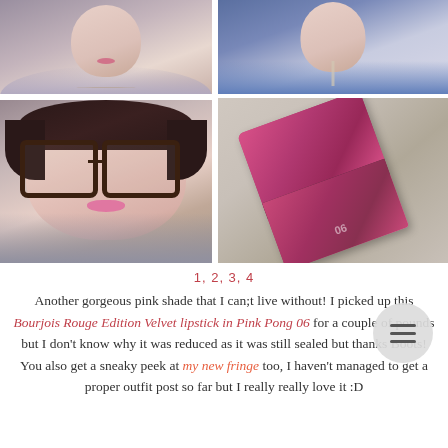[Figure (photo): 2x2 grid of four photos: top-left shows a woman in a fur-trimmed coat with a necklace, top-right shows a woman in a blue top with a necklace, bottom-left shows a woman with dark hair and glasses wearing a grey top with pink lips, bottom-right shows a hot pink Bourjois Rouge Edition Velvet lipstick tube on a carpet]
1, 2, 3, 4
Another gorgeous pink shade that I can;t live without! I picked up this Bourjois Rouge Edition Velvet lipstick in Pink Pong 06 for a couple of pounds but I don't know why it was reduced as it was still sealed but thanks Boots! You also get a sneaky peek at my new fringe too, I haven't managed to get a proper outfit post so far but I really really love it :D